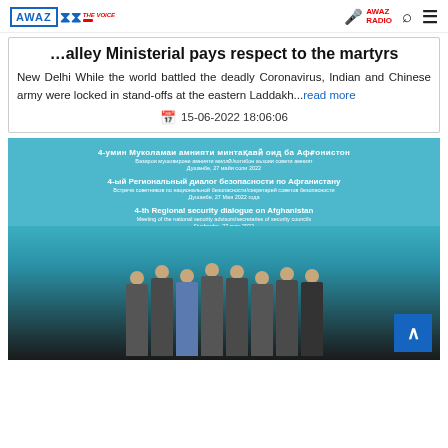AWAZ THE VOICE | AWAZ RADIO
Valley Ministerial pays respect to the martyrs
New Delhi While the world battled the deadly Coronavirus, Indian and Chinese army were locked in stand-offs at the eastern Laddakh...read more
15-06-2022 18:06:06
[Figure (photo): Group photo of officials at the 4th Regional Security Dialogue on Afghanistan, Dushanbe, 27 May 2022. Text in Tajik, Russian, and English visible on backdrop. Eight men in formal attire standing in a row.]